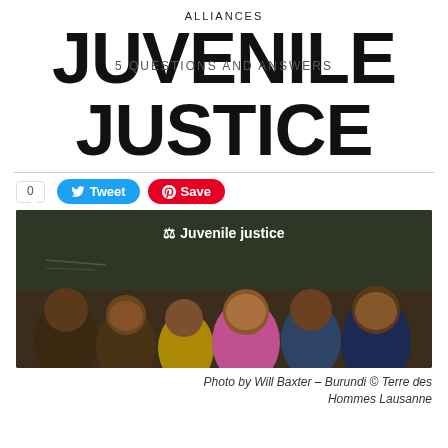ALLIANCES
JUVENILE JUSTICE
5 QUESTIONS AND ANSWERS
[Figure (photo): Group of young African children and teenagers smiling in front of a chalkboard, with text 'Juvenile justice' and a scales of justice icon overlaid at the top.]
Photo by Will Baxter – Burundi  © Terre des Hommes Lausanne